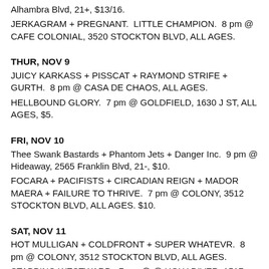Alhambra Blvd, 21+, $13/16.
JERKAGRAM + PREGNANT.  LITTLE CHAMPION.  8 pm @ CAFE COLONIAL, 3520 STOCKTON BLVD, ALL AGES.
THUR, NOV 9
JUICY KARKASS + PISSCAT + RAYMOND STRIFE + GURTH.  8 pm @ CASA DE CHAOS, ALL AGES.
HELLBOUND GLORY.  7 pm @ GOLDFIELD, 1630 J ST, ALL AGES, $5.
FRI, NOV 10
Thee Swank Bastards + Phantom Jets + Danger Inc.  9 pm @ Hideaway, 2565 Franklin Blvd, 21-, $10.
FOCARA + PACIFISTS + CIRCADIAN REIGN + MADOR MAERA + FAILURE TO THRIVE.  7 pm @ COLONY, 3512 STOCKTON BLVD, ALL AGES. $10.
SAT, NOV 11
HOT MULLIGAN + COLDFRONT + SUPER WHATEVR.  8 pm @ COLONY, 3512 STOCKTON BLVD, ALL AGES.
STABBING WESTWARD.  7 pm @ @ HOLY DIVER, 1517 21st